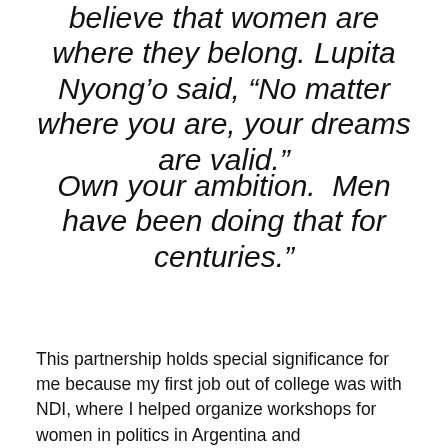believe that women are where they belong. Lupita Nyong'o said, “No matter where you are, your dreams are valid.”
Own your ambition.  Men have been doing that for centuries.”
This partnership holds special significance for me because my first job out of college was with NDI, where I helped organize workshops for women in politics in Argentina and